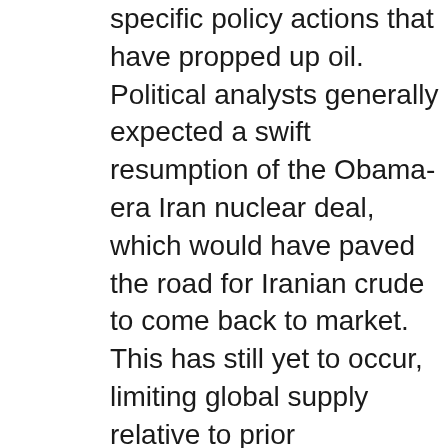specific policy actions that have propped up oil. Political analysts generally expected a swift resumption of the Obama-era Iran nuclear deal, which would have paved the road for Iranian crude to come back to market. This has still yet to occur, limiting global supply relative to prior expectations.
Meanwhile, at home, President Biden has generally sought to restrict US oil production, lowering supply expectations and boosting prices.